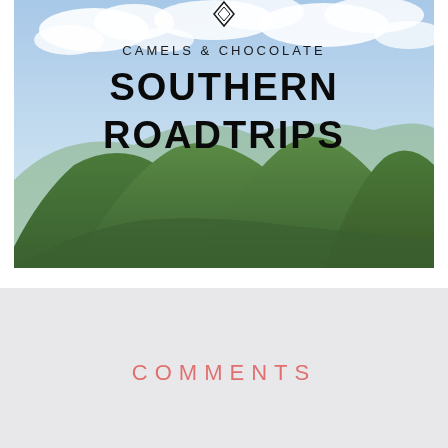[Figure (photo): Mountain landscape with green forested hills and blue sky with clouds. Overlaid text reads 'CAMELS & CHOCOLATE' and 'SOUTHERN ROADTRIPS' in bold black letters.]
COMMENTS